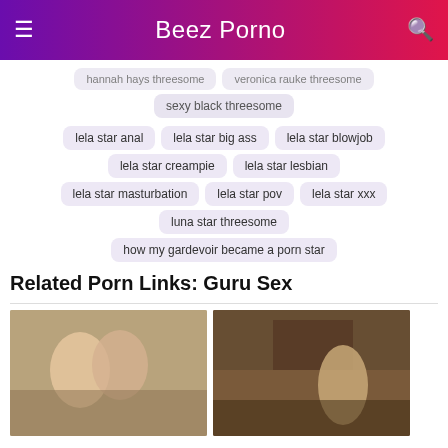Beez Porno
hannah hays threesome
veronica rauke threesome
sexy black threesome
lela star anal
lela star big ass
lela star blowjob
lela star creampie
lela star lesbian
lela star masturbation
lela star pov
lela star xxx
luna star threesome
how my gardevoir became a porn star
Related Porn Links: Guru Sex
[Figure (photo): Video thumbnail showing two people]
[Figure (photo): Video thumbnail showing a person in a kitchen]